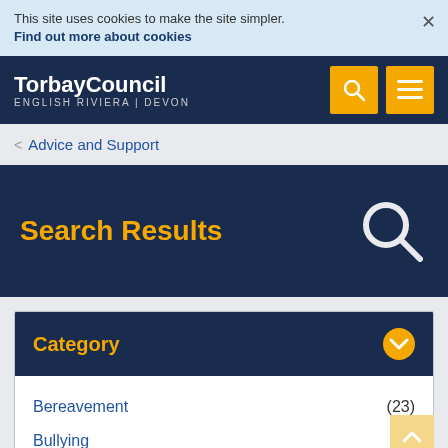This site uses cookies to make the site simpler. Find out more about cookies
TorbayCouncil ENGLISH RIVIERA | DEVON
< Advice and Support
Search Results
Category
Bereavement (23)
Bullying (9)